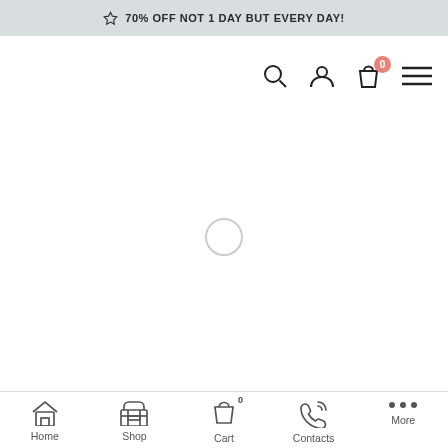☆ 70% OFF NOT 1 DAY BUT EVERY DAY!
[Figure (screenshot): E-commerce mobile app header with search, user account, shopping bag (badge 0), and hamburger menu icons]
[Figure (screenshot): Loading spinner (circular outline) in the center of the content area]
Home  Shop  Cart 0  Contacts  More